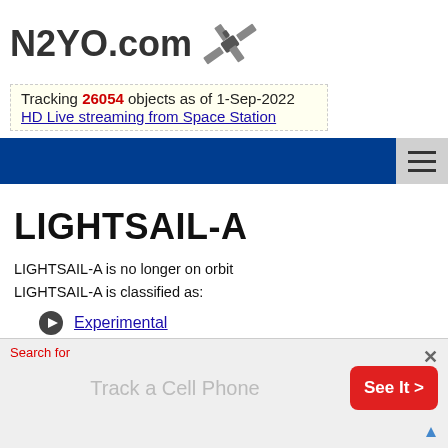N2YO.com
Tracking 26054 objects as of 1-Sep-2022
HD Live streaming from Space Station
LIGHTSAIL-A
LIGHTSAIL-A is no longer on orbit
LIGHTSAIL-A is classified as:
Experimental
Amateur radio
Search for
Track a Cell Phone
See It >